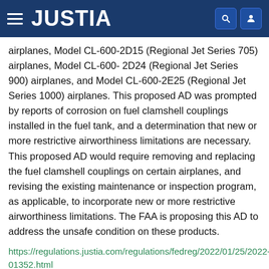JUSTIA
airplanes, Model CL-600-2D15 (Regional Jet Series 705) airplanes, Model CL-600-2D24 (Regional Jet Series 900) airplanes, and Model CL-600-2E25 (Regional Jet Series 1000) airplanes. This proposed AD was prompted by reports of corrosion on fuel clamshell couplings installed in the fuel tank, and a determination that new or more restrictive airworthiness limitations are necessary. This proposed AD would require removing and replacing the fuel clamshell couplings on certain airplanes, and revising the existing maintenance or inspection program, as applicable, to incorporate new or more restrictive airworthiness limitations. The FAA is proposing this AD to address the unsafe condition on these products.
https://regulations.justia.com/regulations/fedreg/2022/01/25/2022-01352.html